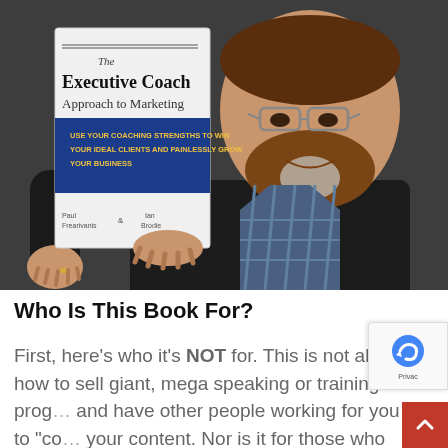[Figure (photo): A smiling bearded man holding up a book titled 'The Executive Coach Approach to Marketing' with a blue banner section and authors listed at the bottom.]
Who Is This Book For?
First, here's who it's NOT for. This is not about how to sell giant, mega speaking or training prog... and have other people working for you to "co... your content. Nor is it for those who want to turn...